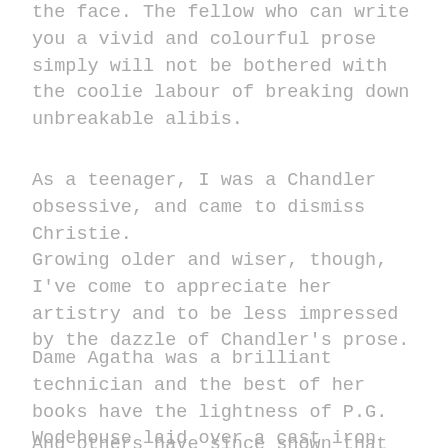the face. The fellow who can write you a vivid and colourful prose simply will not be bothered with the coolie labour of breaking down unbreakable alibis.
As a teenager, I was a Chandler obsessive, and came to dismiss Christie.
Growing older and wiser, though, I've come to appreciate her artistry and to be less impressed by the dazzle of Chandler's prose.
Dame Agatha was a brilliant technician and the best of her books have the lightness of P.G. Wodehouse laid over a cast iron structure.
And others have since shown that fair play